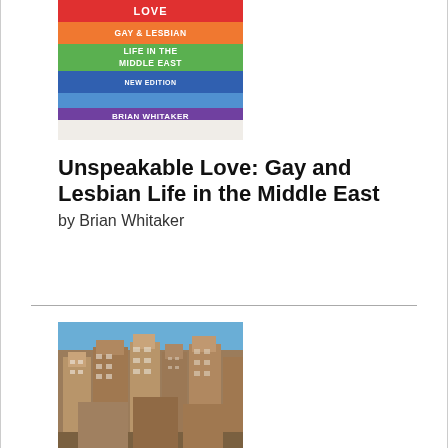[Figure (photo): Book cover of 'Unspeakable Love: Gay and Lesbian Life in the Middle East, New Edition' by Brian Whitaker, with colorful horizontal bands in red, orange, green, blue, and purple]
Unspeakable Love: Gay and Lesbian Life in the Middle East
by Brian Whitaker
More details here
[Figure (photo): Photograph of traditional multi-story buildings in what appears to be Sanaa, Yemen, with ornate facades against a blue sky]